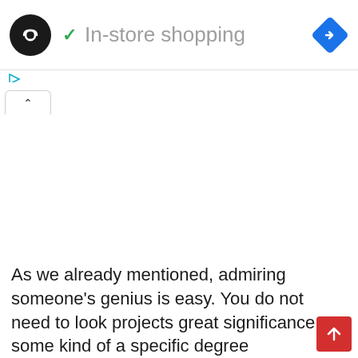[Figure (screenshot): Header bar with a black circular logo containing a chain-link infinity icon, a green checkmark followed by greyed-out text 'In-store shopping', and a blue navigation diamond arrow icon on the right.]
[Figure (screenshot): Ad control icons: a blue play triangle and a blue X below it, on the left side below the header.]
[Figure (screenshot): A browser-style tab with an upward caret (^) symbol inside.]
As we already mentioned, admiring someone's genius is easy. You do not need to look projects great significance or some kind of a specific degree